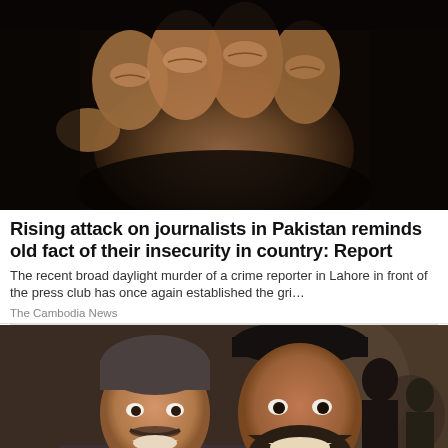[Figure (photo): Close-up photo of a dark-skinned fist/hand against a dark background]
Rising attack on journalists in Pakistan reminds old fact of their insecurity in country: Report
The recent broad daylight murder of a crime reporter in Lahore in front of the press club has once again established the gri…
The Cambodia News
[Figure (photo): Two men smiling and posing together for a photo — one older man with a mustache and one younger man with a beard wearing a black cap]